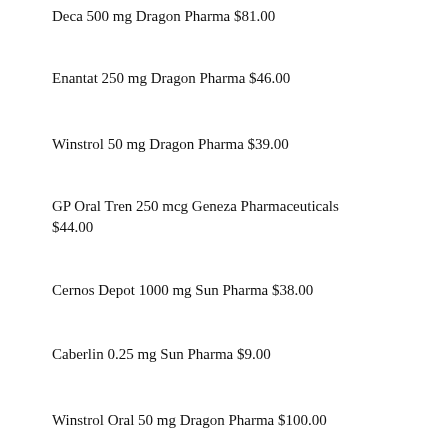Deca 500 mg Dragon Pharma $81.00
Enantat 250 mg Dragon Pharma $46.00
Winstrol 50 mg Dragon Pharma $39.00
GP Oral Tren 250 mcg Geneza Pharmaceuticals $44.00
Cernos Depot 1000 mg Sun Pharma $38.00
Caberlin 0.25 mg Sun Pharma $9.00
Winstrol Oral 50 mg Dragon Pharma $100.00